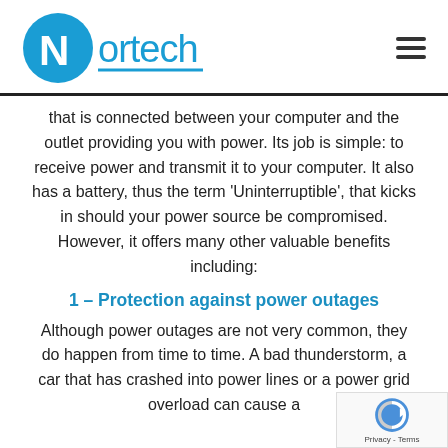[Figure (logo): Nortech logo with blue 'N' circle icon and blue text 'Nortech' with underline, plus hamburger menu icon on right]
that is connected between your computer and the outlet providing you with power. Its job is simple: to receive power and transmit it to your computer. It also has a battery, thus the term 'Uninterruptible', that kicks in should your power source be compromised. However, it offers many other valuable benefits including:
1 – Protection against power outages
Although power outages are not very common, they do happen from time to time. A bad thunderstorm, a car that has crashed into power lines or a power grid overload can cause a